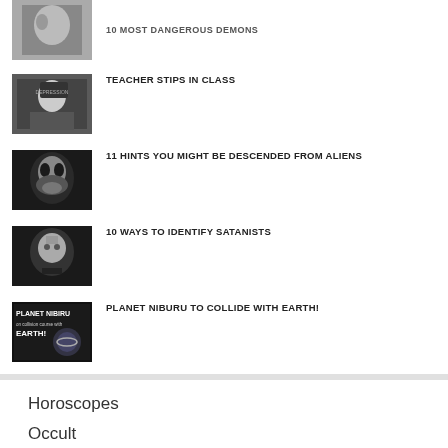TEACHER STIPS IN CLASS
11 HINTS YOU MIGHT BE DESCENDED FROM ALIENS
10 WAYS TO IDENTIFY SATANISTS
PLANET NIBURU TO COLLIDE WITH EARTH!
Horoscopes
Occult
Paranormal